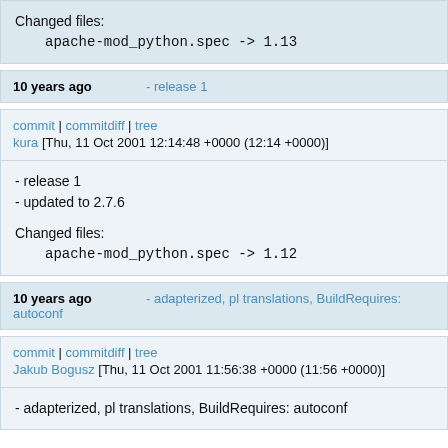Changed files:
    apache-mod_python.spec -> 1.13
10 years ago   - release 1
commit | commitdiff | tree
kura [Thu, 11 Oct 2001 12:14:48 +0000 (12:14 +0000)]
- release 1
- updated to 2.7.6

Changed files:
    apache-mod_python.spec -> 1.12
10 years ago   - adapterized, pl translations, BuildRequires: autoconf
commit | commitdiff | tree
Jakub Bogusz [Thu, 11 Oct 2001 11:56:38 +0000 (11:56 +0000)]
- adapterized, pl translations, BuildRequires: autoconf